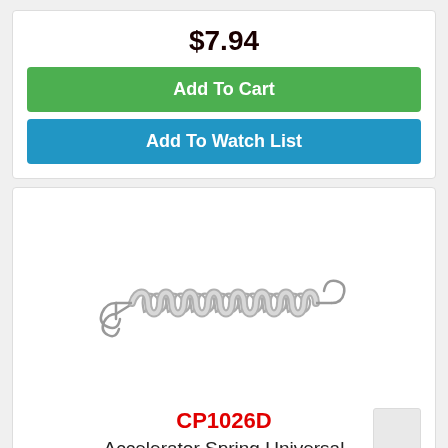$7.94
Add To Cart
Add To Watch List
[Figure (photo): A silver metal extension spring (accelerator spring) with hook ends on both sides, shown horizontally on a white background.]
CP1026D
Accelerator Spring Universal